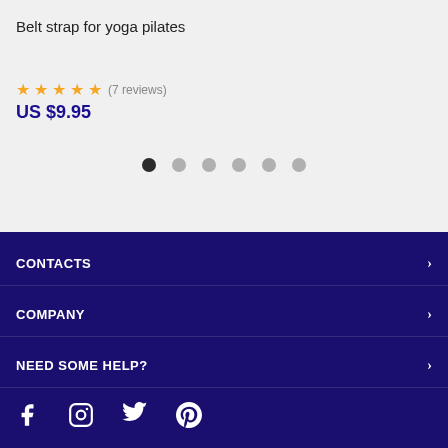Belt strap for yoga pilates
★★★★★ (7 reviews)
US $9.95
[Figure (other): Carousel pagination dots: 6 dots, first one active (dark), rest light gray]
CONTACTS >
COMPANY >
NEED SOME HELP? >
[Figure (other): Social media icons: Facebook, Instagram, Twitter, Pinterest]